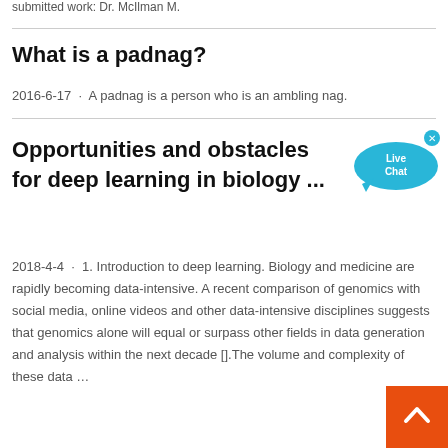submitted work: Dr. McIlman M.
What is a padnag?
2016-6-17 · A padnag is a person who is an ambling nag.
Opportunities and obstacles for deep learning in biology ...
[Figure (other): Live Chat bubble widget in cyan/blue with 'Live Chat' text and close button]
2018-4-4 · 1. Introduction to deep learning. Biology and medicine are rapidly becoming data-intensive. A recent comparison of genomics with social media, online videos and other data-intensive disciplines suggests that genomics alone will equal or surpass other fields in data generation and analysis within the next decade [].The volume and complexity of these data …
[Figure (other): Back to top button — orange square with white upward chevron arrow]